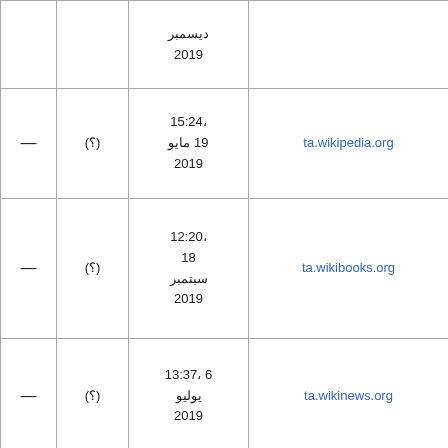|  | ديسمبر 2019 |  | — |
| ta.wikipedia.org | 15:24، 19 مايو 2019 | (؟) | — |
| ta.wikibooks.org | 12:20، 18 سبتمبر 2019 | (؟) | — |
| ta.wikinews.org | 13:37، 6 يوليو 2019 | (؟) | — |
| ta.wikiquote.org | 12:20، 18 سبتمبر 2019 | (؟) | — |